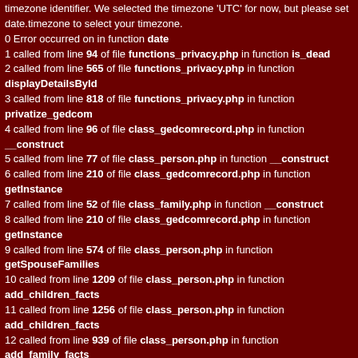timezone identifier. We selected the timezone 'UTC' for now, but please set date.timezone to select your timezone.
0 Error occurred on in function date
1 called from line 94 of file functions_privacy.php in function is_dead
2 called from line 565 of file functions_privacy.php in function displayDetailsById
3 called from line 818 of file functions_privacy.php in function privatize_gedcom
4 called from line 96 of file class_gedcomrecord.php in function __construct
5 called from line 77 of file class_person.php in function __construct
6 called from line 210 of file class_gedcomrecord.php in function getInstance
7 called from line 52 of file class_family.php in function __construct
8 called from line 210 of file class_gedcomrecord.php in function getInstance
9 called from line 574 of file class_person.php in function getSpouseFamilies
10 called from line 1209 of file class_person.php in function add_children_facts
11 called from line 1256 of file class_person.php in function add_children_facts
12 called from line 939 of file class_person.php in function add_family_facts
13 called from line 1372 of file individual_ctrl.php in function print_facts_tab
14 called from line 1323 of file individual_ctrl.php in function getTab
15 called from line 434 of file individual.php
Warning: date(): It is not safe to rely on the system's timezone settings. You